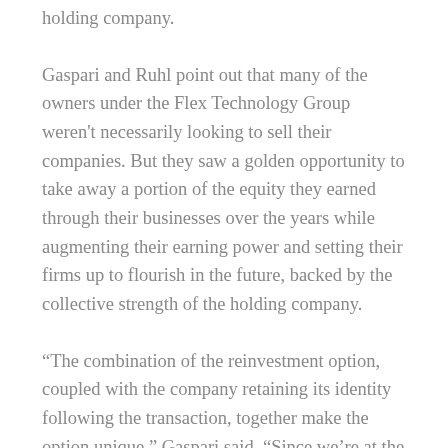holding company.
Gaspari and Ruhl point out that many of the owners under the Flex Technology Group weren't necessarily looking to sell their companies. But they saw a golden opportunity to take away a portion of the equity they earned through their businesses over the years while augmenting their earning power and setting their firms up to flourish in the future, backed by the collective strength of the holding company.
“The combination of the reinvestment option, coupled with the company retaining its identity following the transaction, together make the option unique,” Gaspari said. “Since we’re at the beginning of the consolidation process, it’s a very attractive time for those business owners to consider a reinvestment option with us. In fact, the business owners who have reinvested in our initial platform